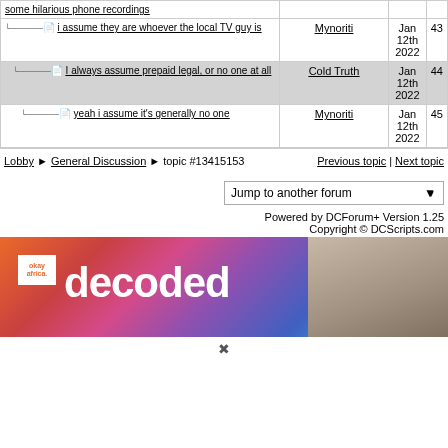| Post | Author | Date | # |
| --- | --- | --- | --- |
| some hilarious phone recordings |  |  |  |
| i assume they are whoever the local TV guy is | Mynoriti | Jan 12th 2022 | 43 |
| I always assume prepaid legal, or no one at all | Cold Truth | Jan 12th 2022 | 44 |
| yeah i assume it's generally no one | Mynoriti | Jan 12th 2022 | 45 |
Lobby ▶ General Discussion ▶ topic #13415153       Previous topic | Next topic
Jump to another forum
Powered by DCForum+ Version 1.25
Copyright © DCScripts.com
[Figure (photo): Advertisement banner for 'Okay Africa decoded' featuring a woman and colorful mosaic-patterned background]
✕